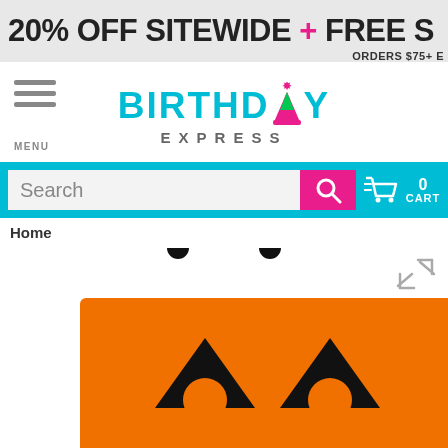20% OFF SITEWIDE + FREE S ORDERS $75+ E
[Figure (logo): Birthday Express logo with party hat icon and teal/cyan text]
[Figure (screenshot): Search bar with magnifying glass icon and shopping cart showing 0 items]
Home
[Figure (photo): Orange jack-o-lantern Halloween trick-or-treat bag with black handles and black pumpkin face eyes]